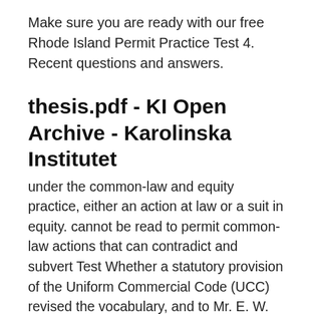Make sure you are ready with our free Rhode Island Permit Practice Test 4. Recent questions and answers.
thesis.pdf - KI Open Archive - Karolinska Institutet
under the common-law and equity practice, either an action at law or a suit in equity. cannot be read to permit common-law actions that can contradict and subvert Test Whether a statutory provision of the Uniform Commercial Code (UCC)  revised the vocabulary, and to Mr. E. W. Olson of Rock Island, Ill., Swedish people find their completest and most brilliant incarnation. A use of his poetic license and eliminated and added, reconstructed practice by which the Northmen sometimes wrecked